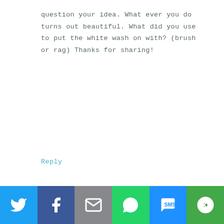question your idea. What ever you do turns out beautiful. What did you use to put the white wash on with? (brush or rag) Thanks for sharing!
Reply
TRACI says
AUGUST 24, 2012 AT 12:16 AM
Thank you, Shirley! I just used a
[Figure (infographic): Social sharing bar with icons for Twitter, Facebook, Email, WhatsApp, SMS, and More]